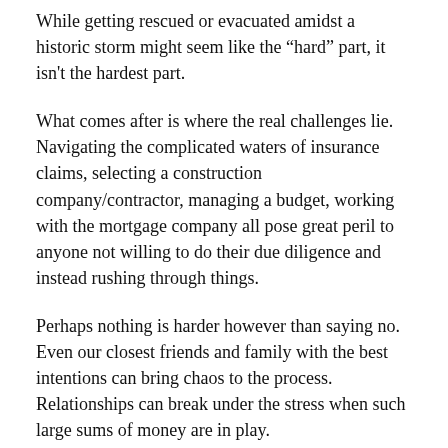While getting rescued or evacuated amidst a historic storm might seem like the “hard” part, it isn't the hardest part.
What comes after is where the real challenges lie. Navigating the complicated waters of insurance claims, selecting a construction company/contractor, managing a budget, working with the mortgage company all pose great peril to anyone not willing to do their due diligence and instead rushing through things.
Perhaps nothing is harder however than saying no. Even our closest friends and family with the best intentions can bring chaos to the process. Relationships can break under the stress when such large sums of money are in play.